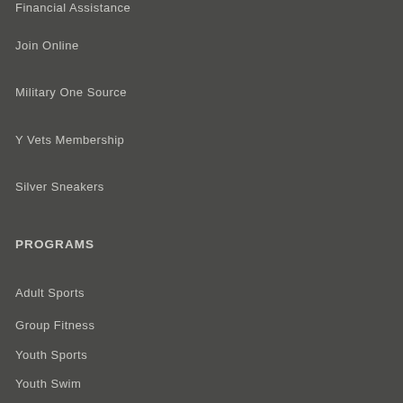Financial Assistance
Join Online
Military One Source
Y Vets Membership
Silver Sneakers
PROGRAMS
Adult Sports
Group Fitness
Youth Sports
Youth Swim
YMCA Camp Winnebago
YMCA EMPLOYEES